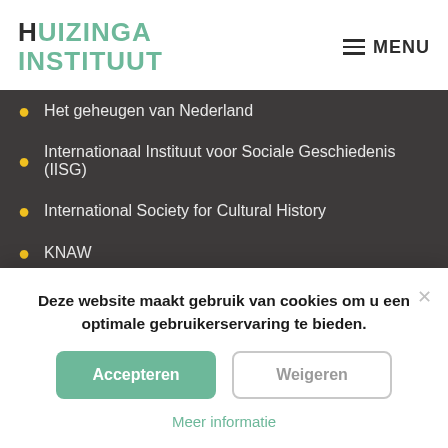HUIZINGA INSTITUUT
Het geheugen van Nederland
Internationaal Instituut voor Sociale Geschiedenis (IISG)
International Society for Cultural History
KNAW
Meertens Instituut
Ministerie van OC&W
NARCIS
Deze website maakt gebruik van cookies om u een optimale gebruikerservaring te bieden.
Accepteren
Weigeren
Meer informatie